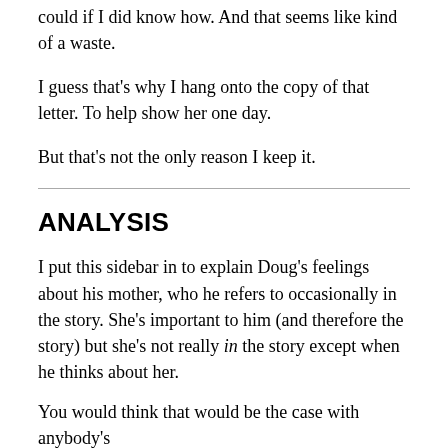could if I did know how. And that seems like kind of a waste.
I guess that's why I hang onto the copy of that letter. To help show her one day.
But that's not the only reason I keep it.
ANALYSIS
I put this sidebar in to explain Doug's feelings about his mother, who he refers to occasionally in the story. She's important to him (and therefore the story) but she's not really in the story except when he thinks about her.
You would think that would be the case with anybody's